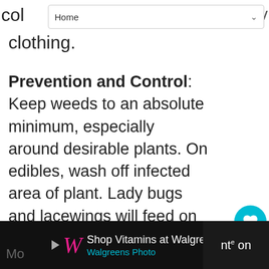Home
clothing.
Prevention and Control: Keep weeds to an absolute minimum, especially around desirable plants. On edibles, wash off infected area of plant. Lady bugs and lacewings will feed on aphids in the garden. There are various products - organic and inorganic - that can be used to control aphids. Seek the recommendation of a professional and follow all label procedures to a tee.
Fungi : Rusts
[Figure (screenshot): Advertisement banner for Walgreens at bottom of page]
[Figure (screenshot): What's Next widget showing 1999 Japanese pumpkin thumbnail]